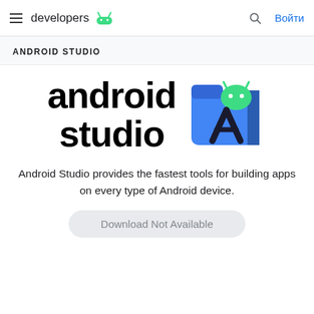developers  (Android logo)   🔍  Войти
ANDROID STUDIO
[Figure (logo): Android Studio logo: bold black text 'android studio' with the Android Studio icon (blue folder with Android robot head and compass tool symbol)]
Android Studio provides the fastest tools for building apps on every type of Android device.
Download Not Available